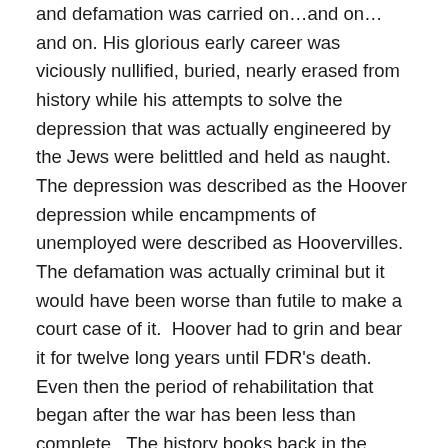and defamation was carried on…and on…and on. His glorious early career was viciously nullified, buried, nearly erased from history while his attempts to solve the depression that was actually engineered by the Jews were belittled and held as naught.  The depression was described as the Hoover depression while encampments of unemployed were described as Hoovervilles.  The defamation was actually criminal but it would have been worse than futile to make a court case of it.  Hoover had to grin and bear it for twelve long years until FDR's death.  Even then the period of rehabilitation that began after the war has been less than complete.  The history books back in the hands of his enemies print the legend rather than the truth.
In the case of Ford not only was he vilified and defamed but serious attempts were made to destroy River Rouge